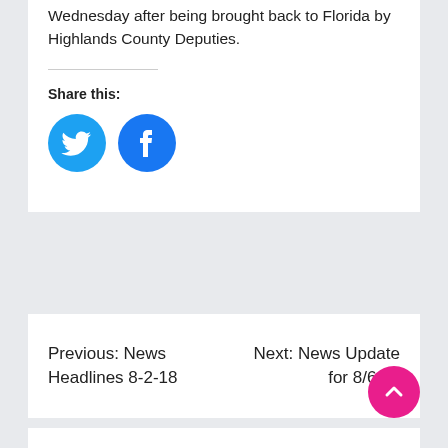Wednesday after being brought back to Florida by Highlands County Deputies.
Share this:
[Figure (illustration): Twitter and Facebook social share icon buttons — cyan Twitter bird circle and blue Facebook 'f' circle]
Previous: News Headlines 8-2-18
Next: News Update for 8/6/18